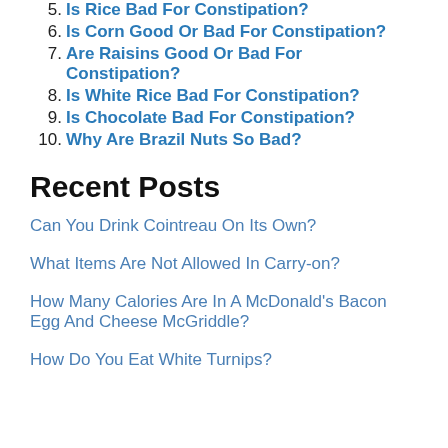5. Is Rice Bad For Constipation?
6. Is Corn Good Or Bad For Constipation?
7. Are Raisins Good Or Bad For Constipation?
8. Is White Rice Bad For Constipation?
9. Is Chocolate Bad For Constipation?
10. Why Are Brazil Nuts So Bad?
Recent Posts
Can You Drink Cointreau On Its Own?
What Items Are Not Allowed In Carry-on?
How Many Calories Are In A McDonald's Bacon Egg And Cheese McGriddle?
How Do You Eat White Turnips?